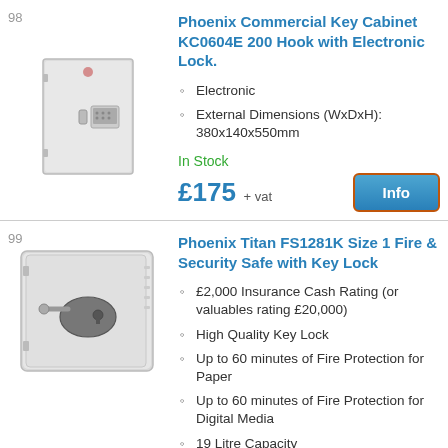98
[Figure (photo): Phoenix Commercial Key Cabinet KC0604E - light grey metal cabinet with electronic keypad lock]
Phoenix Commercial Key Cabinet KC0604E 200 Hook with Electronic Lock.
Electronic
External Dimensions (WxDxH): 380x140x550mm
In Stock
£175 + vat
99
[Figure (photo): Phoenix Titan FS1281K Size 1 Fire & Security Safe - white metal safe with key lock on front panel]
Phoenix Titan FS1281K Size 1 Fire & Security Safe with Key Lock
£2,000 Insurance Cash Rating (or valuables rating £20,000)
High Quality Key Lock
Up to 60 minutes of Fire Protection for Paper
Up to 60 minutes of Fire Protection for Digital Media
19 Litre Capacity
External Dimensions (WxDxH):